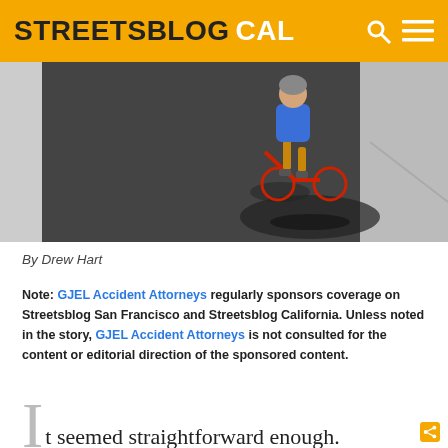STREETSBLOG CAL
[Figure (photo): Child riding a red bicycle on a paved path, viewed from behind, with shadow cast on the ground]
By Drew Hart
Note: GJEL Accident Attorneys regularly sponsors coverage on Streetsblog San Francisco and Streetsblog California. Unless noted in the story, GJEL Accident Attorneys is not consulted for the content or editorial direction of the sponsored content.
It seemed straightforward enough.